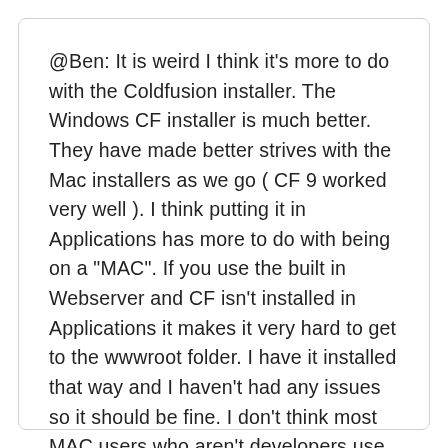@Ben: It is weird I think it's more to do with the Coldfusion installer. The Windows CF installer is much better. They have made better strives with the Mac installers as we go ( CF 9 worked very well ). I think putting it in Applications has more to do with being on a "MAC". If you use the built in Webserver and CF isn't installed in Applications it makes it very hard to get to the wwwroot folder. I have it installed that way and I haven't had any issues so it should be fine. I don't think most MAC users who aren't developers use the Terminal much.